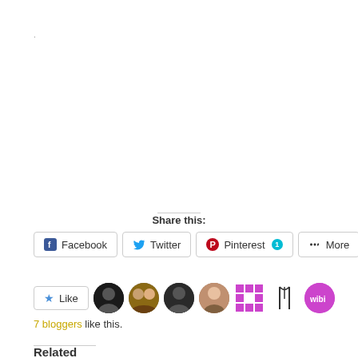.
Share this:
Facebook  Twitter  Pinterest 1  More
[Figure (other): Like button and blogger avatars row showing 7 blogger profile pictures]
7 bloggers like this.
Related